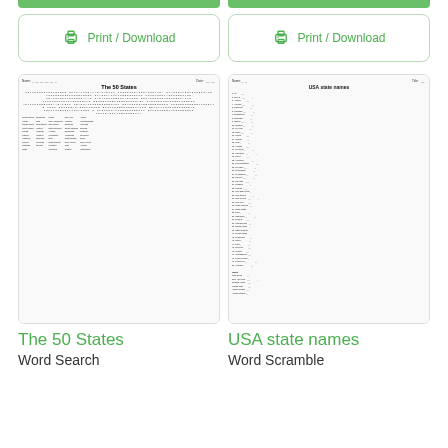[Figure (screenshot): Print/Download button for The 50 States worksheet]
[Figure (screenshot): Print/Download button for USA state names worksheet]
[Figure (illustration): Thumbnail of 'The 50 States' word search worksheet showing a grid of letters and word list]
[Figure (illustration): Thumbnail of 'USA state names' word scramble worksheet showing numbered lines]
The 50 States
Word Search
USA state names
Word Scramble